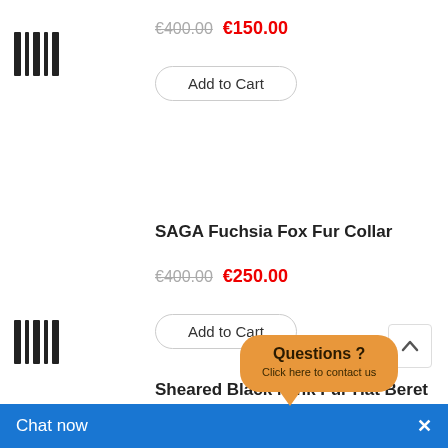[Figure (other): Barcode/wishlist icon for first product]
€400.00  €150.00
Add to Cart
SAGA Fuchsia Fox Fur Collar
€400.00  €250.00
Add to Cart
[Figure (other): Barcode/wishlist icon for second product]
Sheared Black Mink Fur Hat Beret
€600.00
Add to Cart (partially visible)
[Figure (other): Barcode/wishlist icon for third product]
Questions? Click here to contact us
Chat now